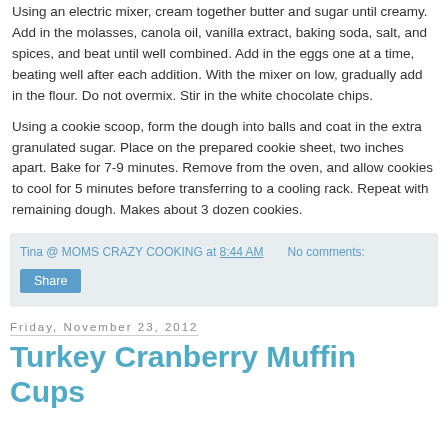Using an electric mixer, cream together butter and sugar until creamy. Add in the molasses, canola oil, vanilla extract, baking soda, salt, and spices, and beat until well combined. Add in the eggs one at a time, beating well after each addition. With the mixer on low, gradually add in the flour. Do not overmix. Stir in the white chocolate chips.
Using a cookie scoop, form the dough into balls and coat in the extra granulated sugar. Place on the prepared cookie sheet, two inches apart. Bake for 7-9 minutes. Remove from the oven, and allow cookies to cool for 5 minutes before transferring to a cooling rack. Repeat with remaining dough. Makes about 3 dozen cookies.
Tina @ MOMS CRAZY COOKING at 8:44 AM   No comments:
Share
Friday, November 23, 2012
Turkey Cranberry Muffin Cups